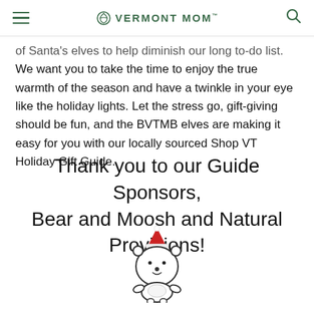Vermont Mom
of Santa's elves to help diminish our long to-do list. We want you to take the time to enjoy the true warmth of the season and have a twinkle in your eye like the holiday lights. Let the stress go, gift-giving should be fun, and the BVTMB elves are making it easy for you with our locally sourced Shop VT Holiday Gift Guide.
Thank you to our Guide Sponsors, Bear and Moosh and Natural Provisions!
[Figure (illustration): Cartoon polar bear wearing a Santa hat, drawn in simple outline style]